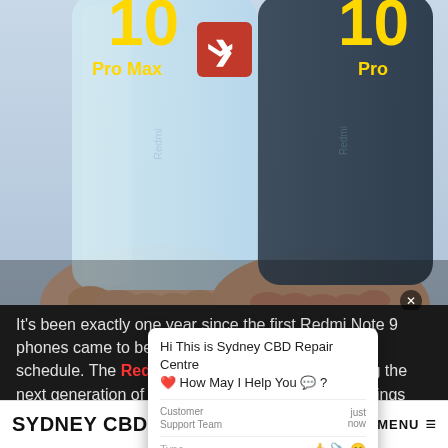[Figure (photo): Two hands holding Redmi Note 10 Pro Max (light blue) and Redmi Note 10 Pro (dark grey) smartphones side by side against a light background. Yellow text labels 'Pro Max' and 'Pro' visible, with a red chevron/arrow overlay in the center.]
[Figure (screenshot): Chat widget popup from Sydney CBD Repair Centre showing greeting message: 'Hi This is Sydney CBD Repair Centre ❤️ How May I Help You 💬?' with Customer Support Team label and 'just now' timestamp, plus Type bar with emoji/attachment icons.]
It's been exactly one year since the first Redmi Note 9 phones came to be, and the updates arrive right on schedule. The Redmi Note 10 Pro is spearheading the next generation of affordable mid-rangers, and it brings one of the most requested fan-favorite features – a
SYDNEY CBD REPAIR CENTRE MENU ≡